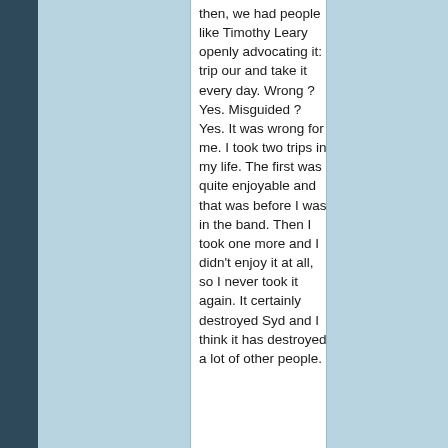then, we had people like Timothy Leary openly advocating it: trip our and take it every day. Wrong ? Yes. Misguided ? Yes. It was wrong for me. I took two trips in my life. The first was quite enjoyable and that was before I was in the band. Then I took one more and I didn't enjoy it at all, so I never took it again. It certainly destroyed Syd and I think it has destroyed a lot of other people.